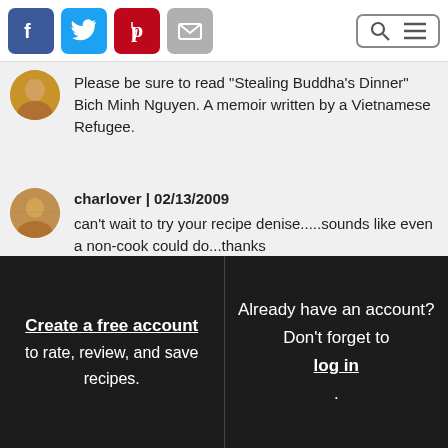Social share icons: Facebook, Twitter, Pinterest, Email; Search and menu icons
Please be sure to read "Stealing Buddha's Dinner" Bich Minh Nguyen. A memoir written by a Vietnamese Refugee.
charlover | 02/13/2009
can't wait to try your recipe denise.....sounds like even a non-cook could do...thanks
Create a free account to rate, review, and save recipes.
Already have an account? Don't forget to log in.